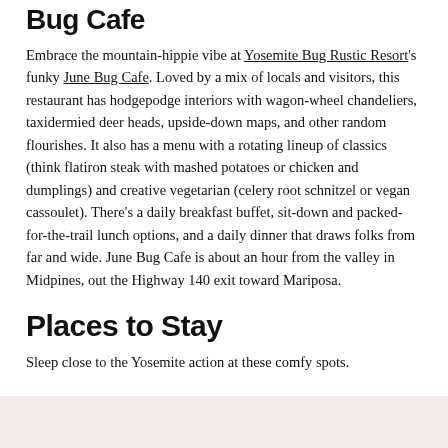Bug Cafe
Embrace the mountain-hippie vibe at Yosemite Bug Rustic Resort's funky June Bug Cafe. Loved by a mix of locals and visitors, this restaurant has hodgepodge interiors with wagon-wheel chandeliers, taxidermied deer heads, upside-down maps, and other random flourishes. It also has a menu with a rotating lineup of classics (think flatiron steak with mashed potatoes or chicken and dumplings) and creative vegetarian (celery root schnitzel or vegan cassoulet). There's a daily breakfast buffet, sit-down and packed-for-the-trail lunch options, and a daily dinner that draws folks from far and wide. June Bug Cafe is about an hour from the valley in Midpines, out the Highway 140 exit toward Mariposa.
Places to Stay
Sleep close to the Yosemite action at these comfy spots.
[Figure (other): Pink/beige colored box at bottom of page]